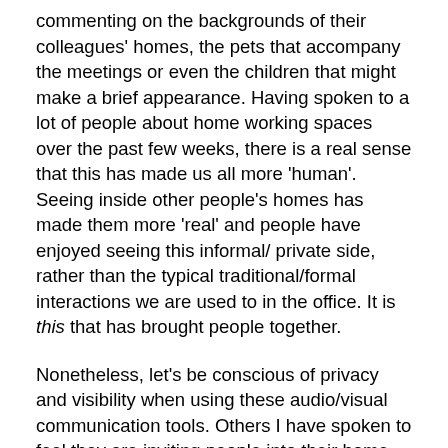commenting on the backgrounds of their colleagues' homes, the pets that accompany the meetings or even the children that might make a brief appearance. Having spoken to a lot of people about home working spaces over the past few weeks, there is a real sense that this has made us all more 'human'. Seeing inside other people's homes has made them more 'real' and people have enjoyed seeing this informal/ private side, rather than the typical traditional/formal interactions we are used to in the office. It is this that has brought people together.
Nonetheless, let's be conscious of privacy and visibility when using these audio/visual communication tools. Others I have spoken to feel they are inviting people into their home spaces that perhaps they would not choose to. The blurring of the work/home boundary has been emphasised by